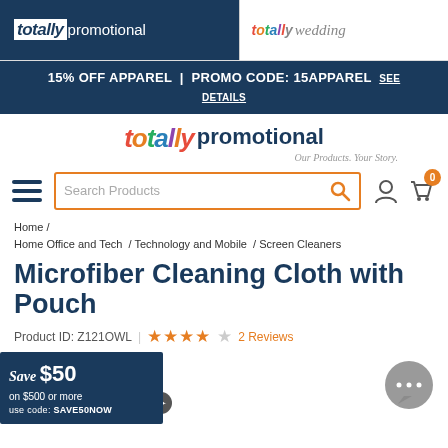totally promotional | totally wedding
15% OFF APPAREL | PROMO CODE: 15APPAREL SEE DETAILS
[Figure (logo): Totally Promotional logo with colorful letters and tagline 'Our Products. Your Story.']
[Figure (screenshot): Navigation bar with hamburger menu, search box reading 'Search Products', user account icon, and shopping cart icon with badge showing 0]
Home / Home Office and Tech / Technology and Mobile / Screen Cleaners
Microfiber Cleaning Cloth with Pouch
Product ID: Z121OWL | ★★★★☆ 2 Reviews
[Figure (infographic): Save $50 on $500 or more badge with promo code SAVE50NOW]
[Figure (other): Chat bubble icon with ellipsis (...)]